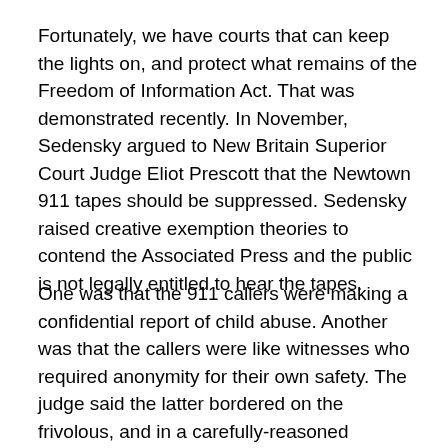Fortunately, we have courts that can keep the lights on, and protect what remains of the Freedom of Information Act. That was demonstrated recently. In November, Sedensky argued to New Britain Superior Court Judge Eliot Prescott that the Newtown 911 tapes should be suppressed. Sedensky raised creative exemption theories to contend the Associated Press and the public is not legally entitled to hear the tapes.
One was that the 911 callers were making a confidential report of child abuse. Another was that the callers were like witnesses who required anonymity for their own safety. The judge said the latter bordered on the frivolous, and in a carefully-reasoned decision, ordered the release of the 911 tapes.